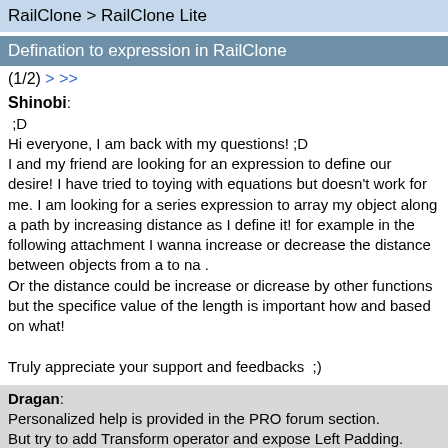RailClone > RailClone Lite
Defination to expression in RailClone
(1/2) > >>
Shinobi:
;D
Hi everyone, I am back with my questions! ;D
I and my friend are looking for an expression to define our desire! I have tried to toying with equations but doesn't work for me. I am looking for a series expression to array my object along a path by increasing distance as I define it! for example in the following attachment I wanna increase or decrease the distance between objects from a to na .
Or the distance could be increase or dicrease by other functions but the specifice value of the length is important how and based on what!

Truly appreciate your support and feedbacks ;)
Dragan:
Personalized help is provided in the PRO forum section.
But try to add Transform operator and expose Left Padding.  Don't forget to enable Override paddings.